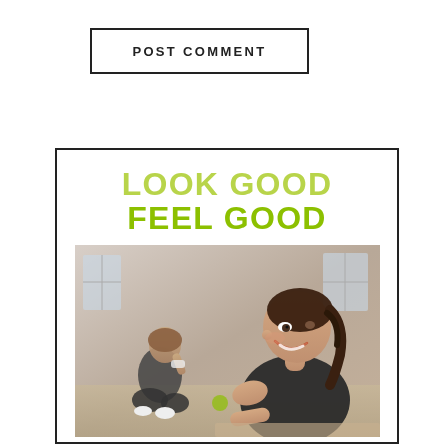POST COMMENT
[Figure (illustration): Fitness/wellness promotional card with text 'LOOK GOOD FEEL GOOD' in lime green, above a photo of two women in workout attire in a gym setting. One woman in the foreground is smiling and leaning forward, another is seated in the background.]